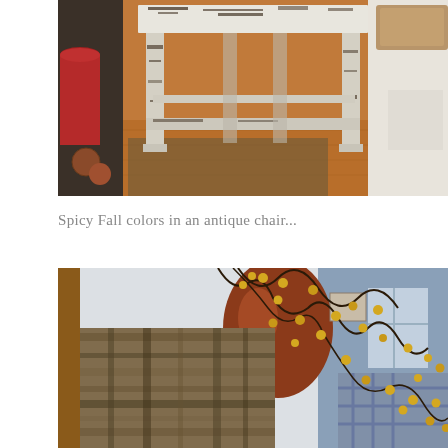[Figure (photo): A distressed white-painted antique wooden side table/bench with heavily chipped and peeling paint revealing dark wood beneath, sitting on a hardwood floor. A red cylindrical object is visible on the left, a burlap/tan cushion on the right, and decorative spheres at lower left.]
Spicy Fall colors in an antique chair...
[Figure (photo): Close-up of an antique chair with a plaid/tartan upholstered seat in autumn colors (brown, olive, burgundy). Decorative branches with small yellow berries are visible in the background along with a blue gingham fabric and a shiny ceramic vase.]